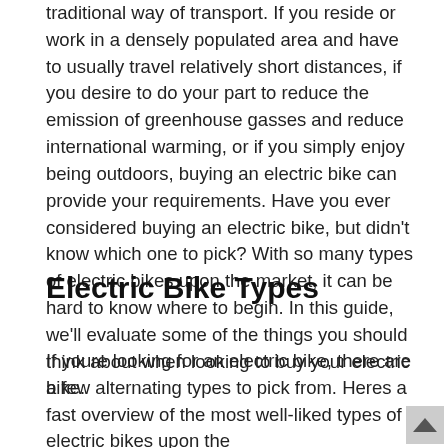traditional way of transport. If you reside or work in a densely populated area and have to usually travel relatively short distances, if you desire to do your part to reduce the emission of greenhouse gasses and reduce international warming, or if you simply enjoy being outdoors, buying an electric bike can provide your requirements. Have you ever considered buying an electric bike, but didn't know which one to pick? With so many types of electric bikes upon the market, it can be hard to know where to begin. In this guide, we'll evaluate some of the things you should think about when looking to buy your electric bike.
Electric Bike Types
If youre looking for an electric bike, there are a few alternating types to pick from. Heres a fast overview of the most well-liked types of electric bikes upon the